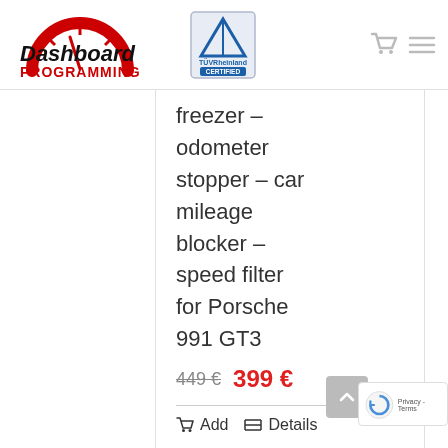[Figure (logo): Dashboard Programming logo with speedometer graphic and TÜV Rheinland Certified badge]
freezer – odometer stopper – car mileage blocker – speed filter for Porsche 991 GT3
449 €  399 €
Add  Details